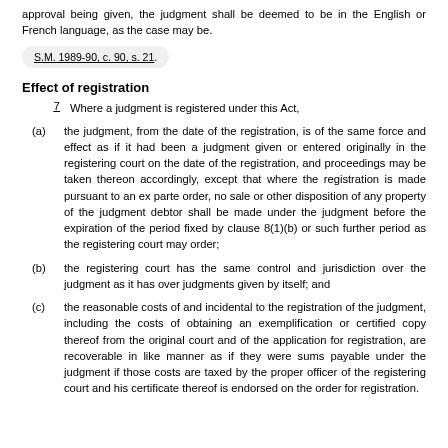approval being given, the judgment shall be deemed to be in the English or French language, as the case may be.
S.M. 1989-90, c. 90, s. 21.
Effect of registration
7     Where a judgment is registered under this Act,
(a) the judgment, from the date of the registration, is of the same force and effect as if it had been a judgment given or entered originally in the registering court on the date of the registration, and proceedings may be taken thereon accordingly, except that where the registration is made pursuant to an ex parte order, no sale or other disposition of any property of the judgment debtor shall be made under the judgment before the expiration of the period fixed by clause 8(1)(b) or such further period as the registering court may order;
(b) the registering court has the same control and jurisdiction over the judgment as it has over judgments given by itself; and
(c) the reasonable costs of and incidental to the registration of the judgment, including the costs of obtaining an exemplification or certified copy thereof from the original court and of the application for registration, are recoverable in like manner as if they were sums payable under the judgment if those costs are taxed by the proper officer of the registering court and his certificate thereof is endorsed on the order for registration.